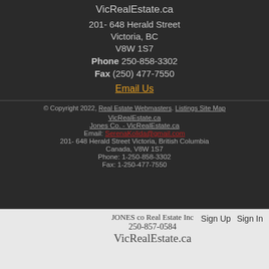VicRealEstate.ca
201- 648 Herald Street
Victoria, BC
V8W 1S7
Phone 250-858-3302
Fax (250) 477-7550
Email Us
© Copyright 2022, Real Estate Webmasters. Listings Site Map VicRealEstate.ca Jones Co. - VicRealEstate.ca Email: SerenaKolida@gmail.com 201- 648 Herald Street Victoria, British Columbia Canada, V8W 1S7 Phone: 1-250-858-3302 Fax: 1-250-477-7550
JONES co Real Estate Inc 250-857-0584 VicRealEstate.ca Sign Up Sign In